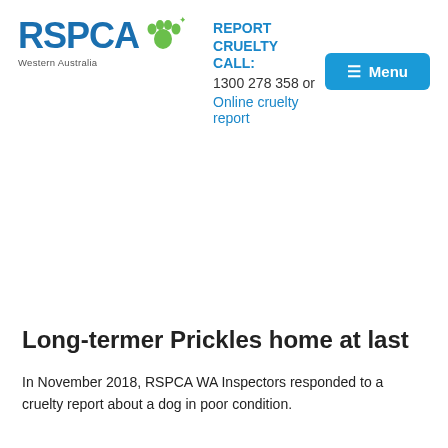[Figure (logo): RSPCA Western Australia logo with blue text 'RSPCA' and green paw prints, subtitle 'Western Australia']
REPORT CRUELTY CALL: 1300 278 358 or Online cruelty report
≡ Menu
Long-termer Prickles home at last
In November 2018, RSPCA WA Inspectors responded to a cruelty report about a dog in poor condition.